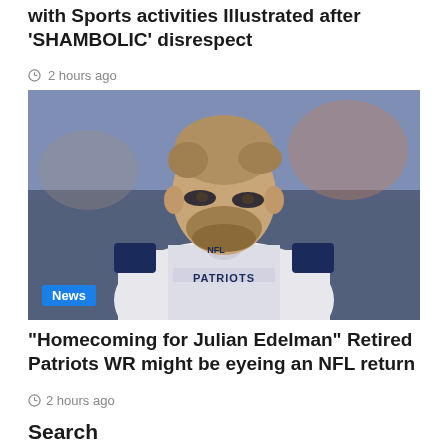with Sports activities Illustrated after 'SHAMBOLIC' disrespect
2 hours ago
[Figure (photo): NFL player in New England Patriots white jersey with 'PATRIOTS' text, black eye paint, beard, looking to the side; blue 'News' badge in lower-left corner]
“Homecoming for Julian Edelman” Retired Patriots WR might be eyeing an NFL return
2 hours ago
Search